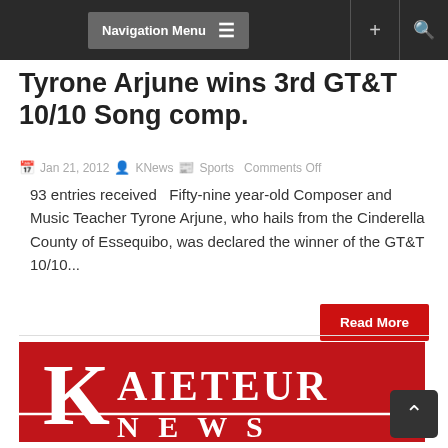Navigation Menu
Tyrone Arjune wins 3rd GT&T 10/10 Song comp.
Jan 21, 2012  KNews  Sports  Comments Off
93 entries received   Fifty-nine year-old Composer and Music Teacher Tyrone Arjune, who hails from the Cinderella County of Essequibo, was declared the winner of the GT&T 10/10...
Read More
[Figure (logo): Kaieteur News logo: large red background with white stylized K and text KAIETEUR NEWS]